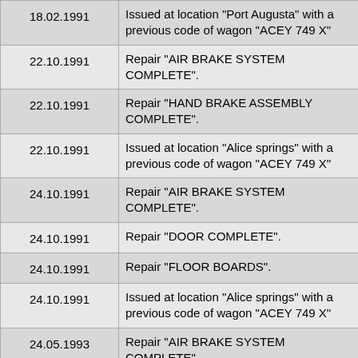| Date | Description |
| --- | --- |
| 18.02.1991 | Issued at location "Port Augusta" with a previous code of wagon "ACEY 749 X" |
| 22.10.1991 | Repair "AIR BRAKE SYSTEM COMPLETE". |
| 22.10.1991 | Repair "HAND BRAKE ASSEMBLY COMPLETE". |
| 22.10.1991 | Issued at location "Alice springs" with a previous code of wagon "ACEY 749 X" |
| 24.10.1991 | Repair "AIR BRAKE SYSTEM COMPLETE". |
| 24.10.1991 | Repair "DOOR COMPLETE". |
| 24.10.1991 | Repair "FLOOR BOARDS". |
| 24.10.1991 | Issued at location "Alice springs" with a previous code of wagon "ACEY 749 X" |
| 24.05.1993 | Repair "AIR BRAKE SYSTEM COMPLETE". |
| 24.05.1993 | Repair "COUPLER KNUCKLE". |
| 24.05.1993 | Repair "HAND BRAKE ASSEMBLY COMPLETE". |